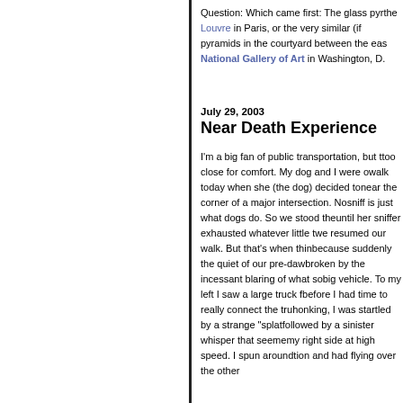Question: Which came first: The glass pyramids at the Louvre in Paris, or the very similar (if smaller) glass pyramids in the courtyard between the east and west National Gallery of Art in Washington, D.
July 29, 2003
Near Death Experience
I'm a big fan of public transportation, but this was too close for comfort. My dog and I were on our walk today when she (the dog) decided to stop near the corner of a major intersection. No, sniff is just what dogs do. So we stood there until her sniffer exhausted whatever little trail, we resumed our walk. But that's when things got because suddenly the quiet of our pre-dawn walk broken by the incessant blaring of what sounded big vehicle. To my left I saw a large truck f before I had time to really connect the truck honking, I was startled by a strange "splat followed by a sinister whisper that seemed my right side at high speed. I spun around tion and had flying over the other